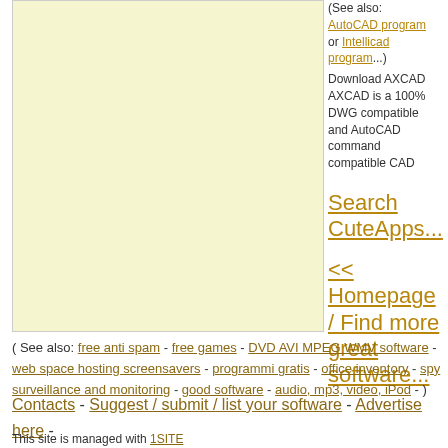(See also: AutoCAD program or Intellicad program...) Download AXCAD AXCAD is a 100% DWG compatible and AutoCAD command compatible CAD
Search CuteApps...
<< Homepage / Find more great software...
( See also: free anti spam - free games - DVD AVI MPEG WMV software - web space hosting screensavers - programmi gratis - office inventory - spy surveillance and monitoring - good software - audio, mp3, video, iPod - )
Contacts - Suggest / submit / list your software - Advertise here - Questions / Info - Search - Software HomePage
This site is managed with 1SITE